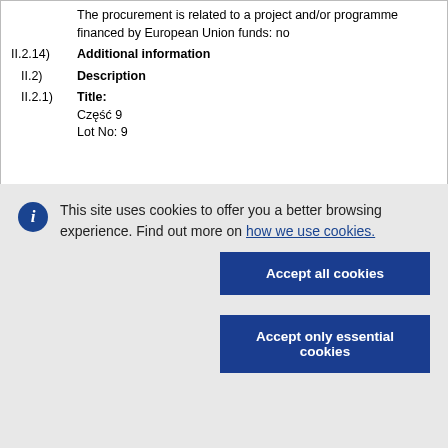The procurement is related to a project and/or programme financed by European Union funds: no
II.2.14) Additional information
II.2) Description
II.2.1) Title: Część 9
Lot No: 9
This site uses cookies to offer you a better browsing experience. Find out more on how we use cookies.
Accept all cookies
Accept only essential cookies